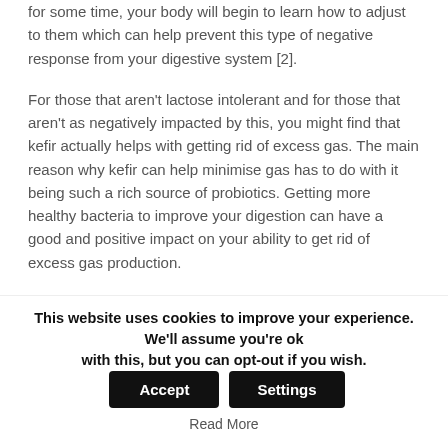for some time, your body will begin to learn how to adjust to them which can help prevent this type of negative response from your digestive system [2].
For those that aren't lactose intolerant and for those that aren't as negatively impacted by this, you might find that kefir actually helps with getting rid of excess gas. The main reason why kefir can help minimise gas has to do with it being such a rich source of probiotics. Getting more healthy bacteria to improve your digestion can have a good and positive impact on your ability to get rid of excess gas production.
Therefore, there is really no answer to this question. The answer is really that it depends on who you are. For some, kefir is likely to cause some type of discomfort which is usually in the form of excess gas. For others, it might relieve a lot of symptoms of bloating
This website uses cookies to improve your experience. We'll assume you're ok with this, but you can opt-out if you wish. Accept Settings Read More